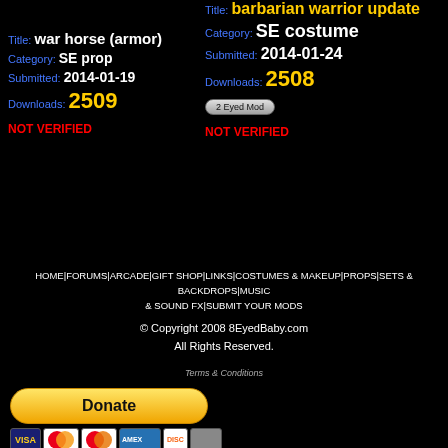Title: war horse (armor)
Category: SE prop
Submitted: 2014-01-19
Downloads: 2509
NOT VERIFIED
Title: barbarian warrior update
Category: SE costume
Submitted: 2014-01-24
Downloads: 2508
2 Eyed Mod
NOT VERIFIED
HOME | FORUMS | ARCADE | GIFT SHOP | LINKS | COSTUMES & MAKEUP | PROPS | SETS & BACKDROPS | MUSIC & SOUND FX | SUBMIT YOUR MODS
© Copyright 2008 8EyedBaby.com
All Rights Reserved.
Terms & Conditions